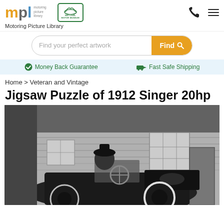[Figure (logo): MPL Motoring Picture Library logo with colored letters m (orange), p (gray), l (blue) and small text 'motoring picture library']
[Figure (logo): National Motor Museum green badge/logo]
Motoring Picture Library
Find your perfect artwork
✔ Money Back Guarantee   🚚 Fast Safe Shipping
Home > Veteran and Vintage
Jigsaw Puzzle of 1912 Singer 20hp
[Figure (photo): Black and white photograph of a 1912 Singer 20hp vintage automobile, with a person in a bowler hat seated in the open-top car, parked in front of a brick building with windows.]